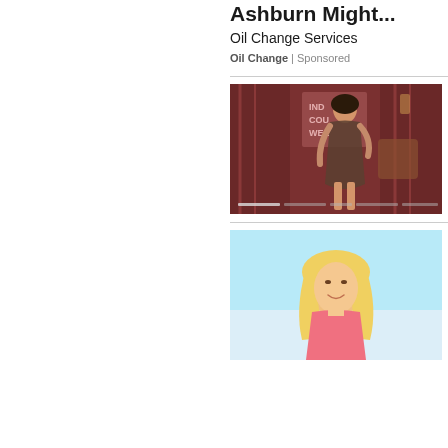Ashburn Might...
Oil Change Services
Oil Change | Sponsored
[Figure (photo): Dark red background photo showing a woman in a fashion/event setting with 'INDI COUT WE' text visible in background, carousel navigation dots at bottom]
[Figure (photo): Light blue background photo showing a blonde woman in a pink outfit]